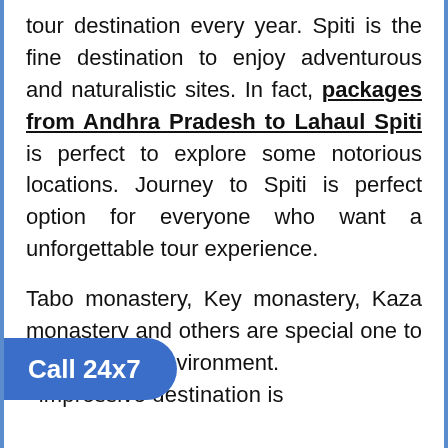tour destination every year. Spiti is the fine destination to enjoy adventurous and naturalistic sites. In fact, packages from Andhra Pradesh to Lahaul Spiti is perfect to explore some notorious locations. Journey to Spiti is perfect option for everyone who want a unforgettable tour experience.

Tabo monastery, Key monastery, Kaza monastery and others are special one to the peaceful environment. impressive destination is
Call 24x7